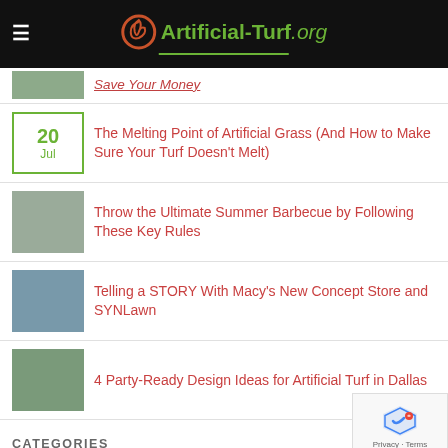Artificial-Turf.org
Save Your Money
20 Jul — The Melting Point of Artificial Grass (And How to Make Sure Your Turf Doesn't Melt)
Throw the Ultimate Summer Barbecue by Following These Key Rules
Telling a STORY With Macy's New Concept Store and SYNLawn
4 Party-Ready Design Ideas for Artificial Turf in Dallas
CATEGORIES